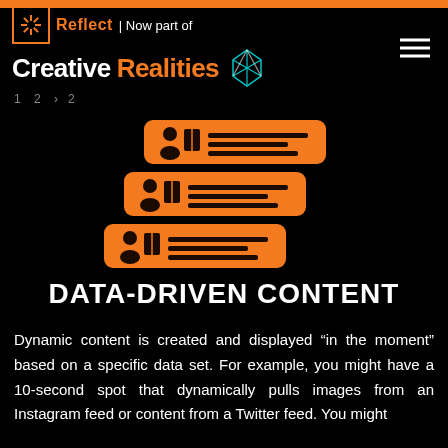Reflect | Now part of Creative Realities
1  2  3
[Figure (illustration): Three stacked orange rounded-rectangle ID/data card icons, each showing a person icon with a book and horizontal lines representing data fields. The cards are staggered slightly to the right as they go down.]
DATA-DRIVEN CONTENT
Dynamic content is created and displayed “in the moment” based on a specific data set. For example, you might have a 10-second spot that dynamically pulls images from an Instagram feed or content from a Twitter feed. You might